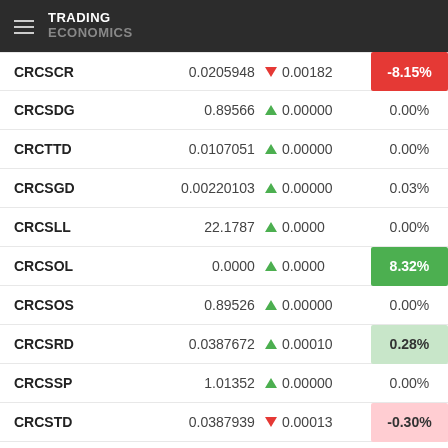TRADING ECONOMICS
| Name | Value | Change | % |
| --- | --- | --- | --- |
| CRCSCR | 0.0205948 | ▼ 0.00182 | -8.15% |
| CRCSDG | 0.89566 | ▲ 0.00000 | 0.00% |
| CRCTTD | 0.0107051 | ▲ 0.00000 | 0.00% |
| CRCSGD | 0.00220103 | ▲ 0.00000 | 0.03% |
| CRCSLL | 22.1787 | ▲ 0.0000 | 0.00% |
| CRCSOL | 0.0000 | ▲ 0.0000 | 8.32% |
| CRCSOS | 0.89526 | ▲ 0.00000 | 0.00% |
| CRCSRD | 0.0387672 | ▲ 0.00010 | 0.28% |
| CRCSSP | 1.01352 | ▲ 0.00000 | 0.00% |
| CRCSTD | 0.0387939 | ▼ 0.00013 | -0.30% |